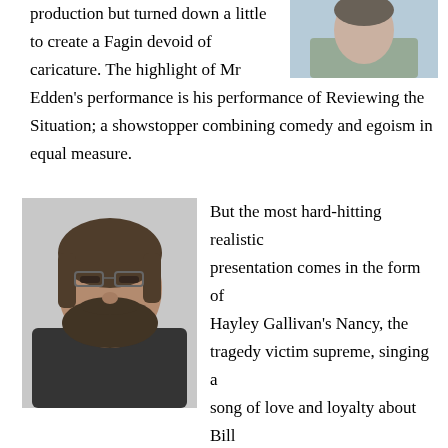[Figure (photo): Portrait photo of a person, cropped, top-right corner]
production but turned down a little to create a Fagin devoid of caricature. The highlight of Mr Edden's performance is his performance of Reviewing the Situation; a showstopper combining comedy and egoism in equal measure.
[Figure (photo): Portrait photo of a bearded man wearing glasses and a dark top]
But the most hard-hitting realistic presentation comes in the form of Hayley Gallivan's Nancy, the tragedy victim supreme, singing a song of love and loyalty about Bill Sikes whilst still wiping the blood away from her mouth where he has socked her one. There's nothing sentimental or sympathetic about this relationship; and when he finally